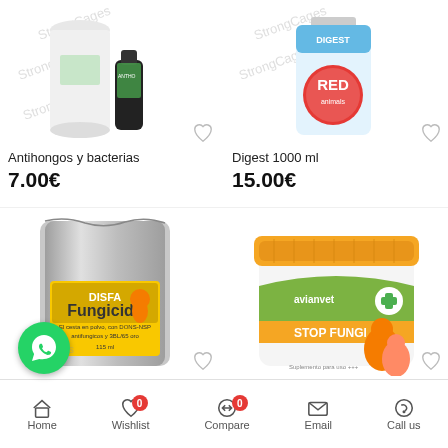[Figure (photo): Product image: Antihongos y bacterias - white container and dark bottle]
Antihongos y bacterias
7.00€
[Figure (photo): Product image: Digest 1000 ml - red branded bottle]
Digest 1000 ml
15.00€
[Figure (photo): Product image: Fungicide 250 gr - DISFA metallic bag with Fungicida label]
Fungicide 250 gr
[Figure (photo): Product image: Stop Fungi - avianvet orange-capped jar]
Stop Fungi
8.15€
Home  Wishlist  Compare  Email  Call us